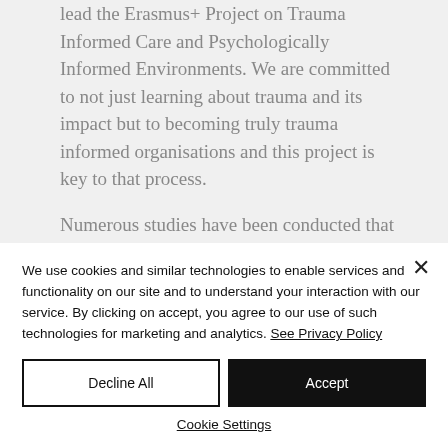lead the Erasmus+ Project on Trauma Informed Care and Psychologically Informed Environments. We are committed to not just learning about trauma and its impact but to becoming truly trauma informed organisations and this project is key to that process.

Numerous studies have been conducted that have highlighted the
We use cookies and similar technologies to enable services and functionality on our site and to understand your interaction with our service. By clicking on accept, you agree to our use of such technologies for marketing and analytics. See Privacy Policy
Decline All
Accept
Cookie Settings